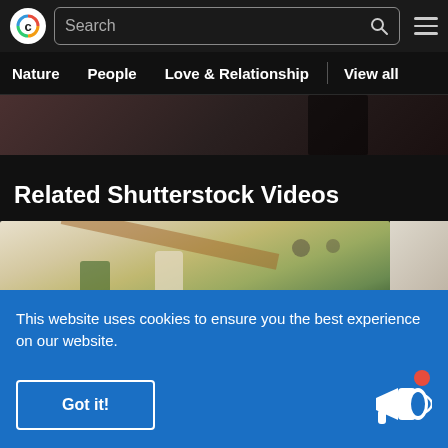[Figure (screenshot): Shutterstock website header with logo, search bar, hamburger menu, and navigation items: Nature, People, Love & Relationship, View all]
Nature   People   Love & Relationship   View all
[Figure (photo): Partial video thumbnail showing a dark-clothed figure]
Related Shutterstock Videos
[Figure (photo): Video thumbnail showing an elderly woman in a modern building interior with wooden beams and plants]
This website uses cookies to ensure you the best experience on our website.
Got it!